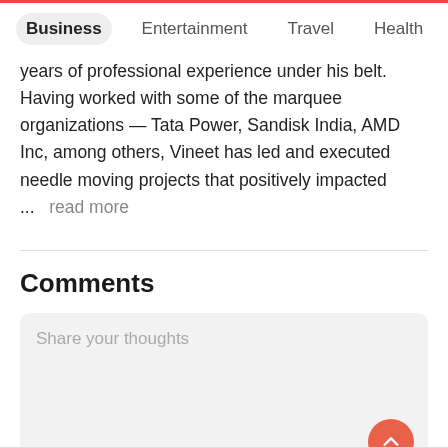Business | Entertainment | Travel | Health
years of professional experience under his belt. Having worked with some of the marquee organizations — Tata Power, Sandisk India, AMD Inc, among others, Vineet has led and executed needle moving projects that positively impacted ...   read more
Comments
Share your thoughts